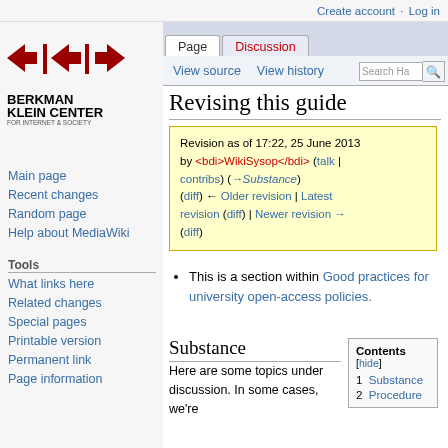Create account  Log in
[Figure (logo): Berkman Klein Center for Internet & Society at Harvard University logo with arrow symbols]
Main page
Recent changes
Random page
Help about MediaWiki
Tools
What links here
Related changes
Special pages
Printable version
Permanent link
Page information
Revising this guide
Revision as of 17:22, 25 June 2013 by <bdi>WikiSysop</bdi> (talk | contribs) (→Substance) (diff) ← Older revision | Latest revision (diff) | Newer revision → (diff)
This is a section within Good practices for university open-access policies.
Substance
Here are some topics under discussion. In some cases, we're
| Contents [hide] |
| --- |
| 1  Substance |
| 2  Procedure |